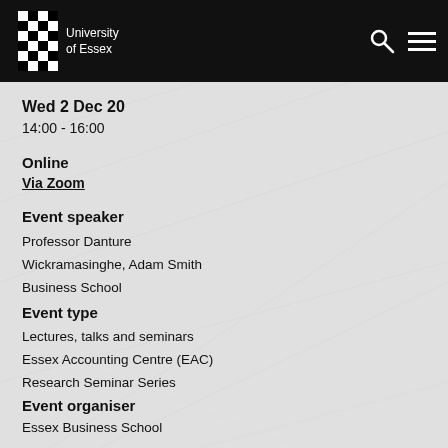University of Essex
Wed 2 Dec 20
14:00 - 16:00
Online
Via Zoom
Event speaker
Professor Danture
Wickramasinghe, Adam Smith
Business School
Event type
Lectures, talks and seminars
Essex Accounting Centre (EAC)
Research Seminar Series
Event organiser
Essex Business School
Contact details